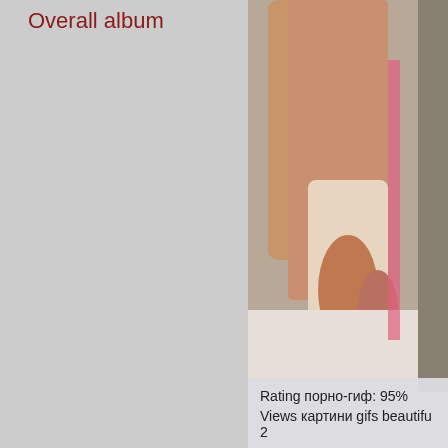Overall album
[Figure (photo): Close-up photo of hands/fingers on a light surface, partially visible on the right side of the page]
Rating порно-гиф: 95%
Views картини gifs beautiful 2